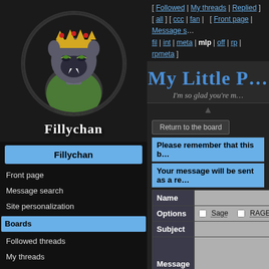[Figure (illustration): Circular avatar image showing a stylized fantasy creature character with dark skin, green eyes, fangs, wearing a golden crown, with a green cape. Black circular border.]
Fillychan
Fillychan
Front page
Message search
Site personalization
Boards
Followed threads
My threads
Replied threads
/all/ - Overboard
Worksafe
/ccc/ - Comics, Cartoons & Collectibles
/fan/ - Fanworks
/fil/ - Filly
/int/ - International
/meta/ - Site Discussion
[ Followed | My threads | Replied ] [ all ] [ ccc | fan | [ Front page | Message s... fil | int | meta | mlp | off | rp | rpmeta ]
My Little P...
I'm so glad you're m...
Return to the board
Please remember that this b...
Your message will be sent as a re...
| Field | Value |
| --- | --- |
| Name |  |
| Options | Sage  RAGE!  Lov... |
| Subject |  |
| Message |  |